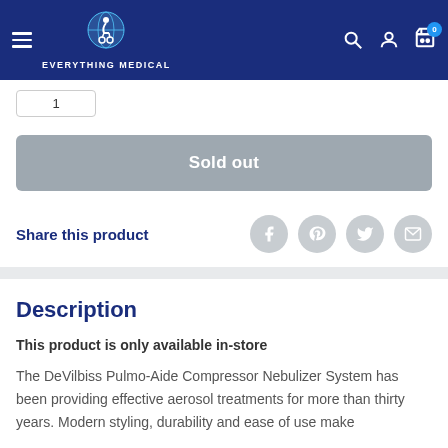EVERYTHING MEDICAL
Sold out
Share this product
Description
This product is only available in-store
The DeVilbiss Pulmo-Aide Compressor Nebulizer System has been providing effective aerosol treatments for more than thirty years. Modern styling, durability and ease of use make